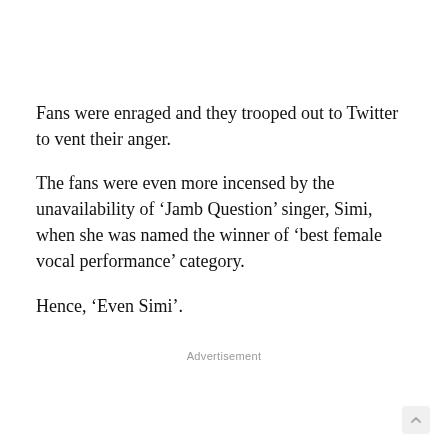Fans were enraged and they trooped out to Twitter to vent their anger.
The fans were even more incensed by the unavailability of ‘Jamb Question’ singer, Simi, when she was named the winner of ‘best female vocal performance’ category.
Hence, ‘Even Simi’.
Advertisement